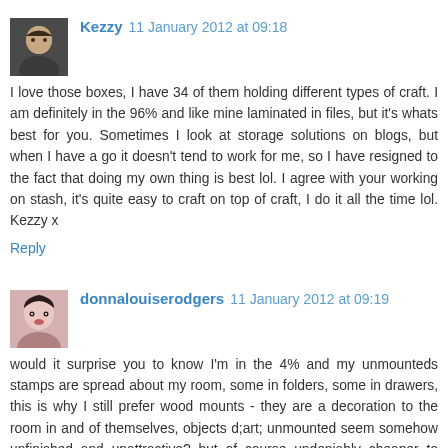Kezzy 11 January 2012 at 09:18
I love those boxes, I have 34 of them holding different types of craft. I am definitely in the 96% and like mine laminated in files, but it's whats best for you. Sometimes I look at storage solutions on blogs, but when I have a go it doesn't tend to work for me, so I have resigned to the fact that doing my own thing is best lol. I agree with your working on stash, it's quite easy to craft on top of craft, I do it all the time lol. Kezzy x
Reply
donnalouiserodgers 11 January 2012 at 09:19
would it surprise you to know I'm in the 4% and my unmounteds stamps are spread about my room, some in folders, some in drawers, this is why I still prefer wood mounts - they are a decoration to the room in and of themselves, objects d;art; unmounted seem somehow unfinished and unattractive? but of course undeniably cheaper to manufacture and therefore more commercially viable, and we now pay so much for them so we once did